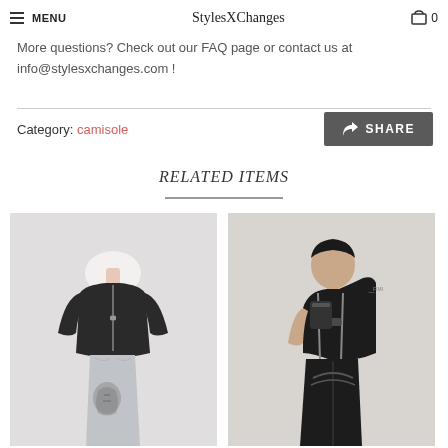MENU | StylesXChanges | 0
More questions? Check out our FAQ page or contact us at info@stylesxchanges.com !
Category: camisole
SHARE
RELATED ITEMS
[Figure (photo): Fashion product photo of a person wearing a black long-sleeve top with silver/metallic printed pants featuring a face graphic]
[Figure (photo): Fashion product photo of a person wearing a black one-shoulder top with tactical strap details and black pants]